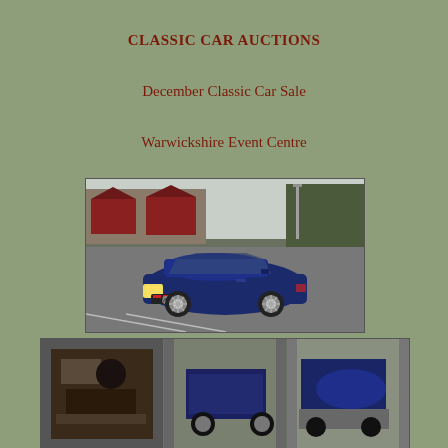CLASSIC CAR AUCTIONS
December Classic Car Sale
Warwickshire Event Centre
Saturday 7th December 2019
[Figure (photo): Blue VW Corrado coupe parked in a car park with red brick buildings and trees in the background]
[Figure (photo): Strip of smaller car interior/detail photos at the bottom of the page]